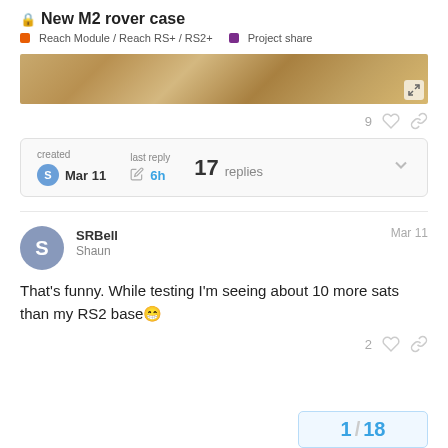New M2 rover case
Reach Module / Reach RS+ / RS2+   Project share
[Figure (photo): Partial photo strip showing rocky/sandy ground texture, golden-brown color]
9 ♡ 🔗
created Mar 11   last reply 6h   17 replies
SRBell
Shaun   Mar 11
That's funny. While testing I'm seeing about 10 more sats than my RS2 base😁
2 ♡ 🔗
1 / 18